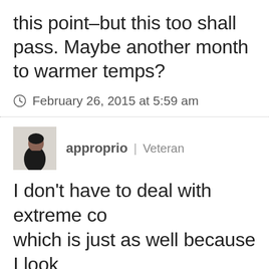this point–but this too shall pass. Maybe another month to warmer temps?
February 26, 2015 at 5:59 am
approprio | Veteran
I don't have to deal with extreme co which is just as well because I look terrible in down coats. But I'm no